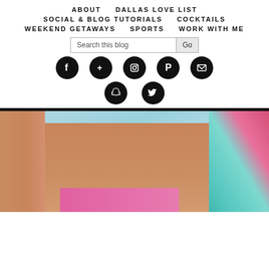ABOUT | DALLAS LOVE LIST
SOCIAL & BLOG TUTORIALS | COCKTAILS
WEEKEND GETAWAYS | SPORTS | WORK WITH ME
[Figure (screenshot): Blog navigation header with social media icon buttons (Facebook, Google+, Instagram, Pinterest, Email, Snapchat, Twitter) and a search bar. Below is a partial beach photo showing a woman in a floral bikini.]